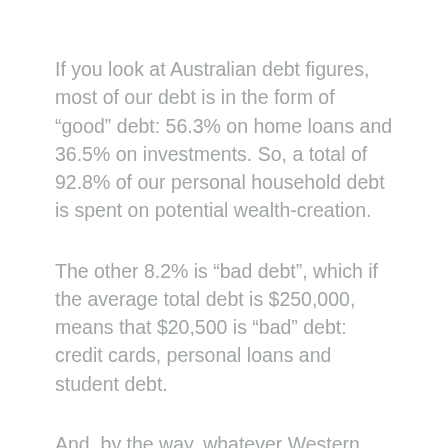If you look at Australian debt figures, most of our debt is in the form of “good” debt: 56.3% on home loans and 36.5% on investments. So, a total of 92.8% of our personal household debt is spent on potential wealth-creation.
The other 8.2% is “bad debt”, which if the average total debt is $250,000, means that $20,500 is “bad” debt: credit cards, personal loans and student debt.
And, by the way, whatever Western country you’re from, the figures are likely to be similar to these, so don’t get smug thinking that Australians are worse at handling debt than you are. The US has a much higher